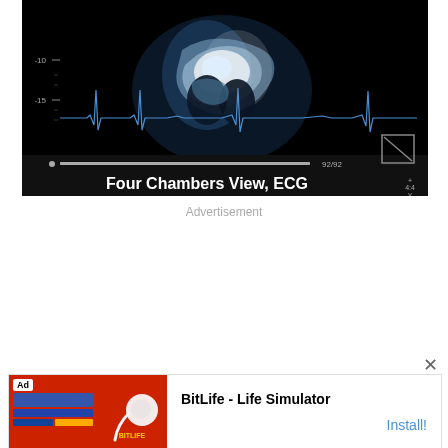[Figure (screenshot): Echocardiogram screenshot showing Four Chambers View with ECG overlay. Black background with ultrasound image of heart in center, ECG waveform line across middle, scale markers on left side, progress bar showing 92/92 at bottom, text 'Four Chambers View, ECG' in white bold font at bottom, video player controls visible.]
Advertisement
[Figure (screenshot): Advertisement banner for BitLife - Life Simulator app. Left side has red background with 'Ad' badge and BitLife logo (sperm icon). Right side shows 'BitLife - Life Simulator' title and 'Install!' link in blue.]